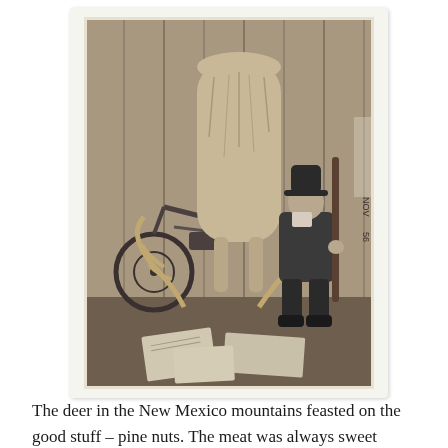[Figure (photo): Black and white photograph dated NOV 56 showing a hunter seated inside a barn or shed holding a rifle, with a large deer hanging skinned in front of him, large antlers on the floor, and a motorcycle visible in the background to the left. Newspapers are scattered on the floor.]
The deer in the New Mexico mountains feasted on the good stuff – pine nuts. The meat was always sweet